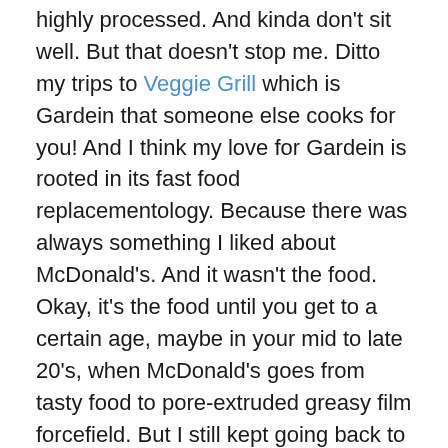highly processed. And kinda don't sit well. But that doesn't stop me. Ditto my trips to Veggie Grill which is Gardein that someone else cooks for you! And I think my love for Gardein is rooted in its fast food replacementology. Because there was always something I liked about McDonald's. And it wasn't the food. Okay, it's the food until you get to a certain age, maybe in your mid to late 20's, when McDonald's goes from tasty food to pore-extruded greasy film forcefield. But I still kept going back to McDonald's, despite how ill it would make me feel, because I'd been brainwashed into seeing it as part of my happy childhood. But one of the things that veganism saved me from, besides myself obviously, was the end result of that apparent need to re-experience my perceived happy childhood. With Gardein, I get to re-live the vegan childhood that I never had! Oh wait, time's up for this session? Let me quickly add that they debuted a crazy